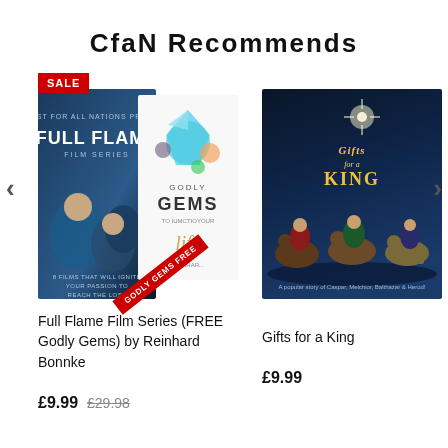CfaN Recommends
[Figure (photo): Product image: Full Flame Film Series book covers with SALE badge and GODLY GEMS FREE ribbon]
Full Flame Film Series (FREE Godly Gems) by Reinhard Bonnke
£9.99  £29.98
[Figure (photo): Product image: Gifts for a King book cover showing three wise men]
Gifts for a King
£9.99